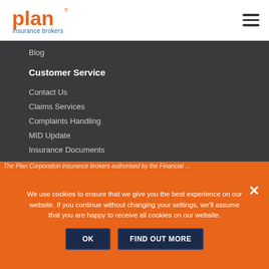[Figure (logo): Plan Insurance Brokers logo — orange 'plan' wordmark with registered trademark symbol and blue 'insurance brokers' text below]
Blog
Customer Service
Contact Us
Claims Services
Complaints Handling
MID Update
Insurance Documents
Referral Credits
Legal
Privacy Policy
Terms
We use cookies to ensure that we give you the best experience on our website. If you continue without changing your settings, we'll assume that you are happy to receive all cookies on our website.